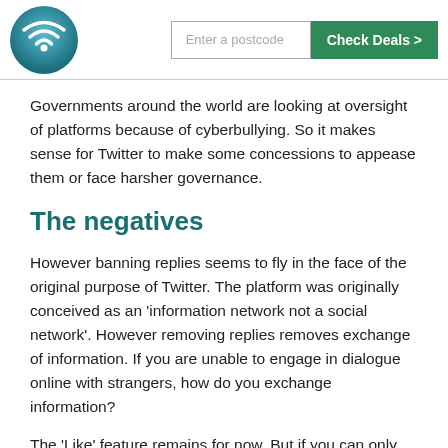Enter a postcode | Check Deals >
Governments around the world are looking at oversight of platforms because of cyberbullying. So it makes sense for Twitter to make some concessions to appease them or face harsher governance.
The negatives
However banning replies seems to fly in the face of the original purpose of Twitter. The platform was originally conceived as an 'information network not a social network'. However removing replies removes exchange of information. If you are unable to engage in dialogue online with strangers, how do you exchange information?
The 'Like' feature remains for now. But if you can only like not respond where is the conversation or accountability? Online social platforms have been interrogating issues like